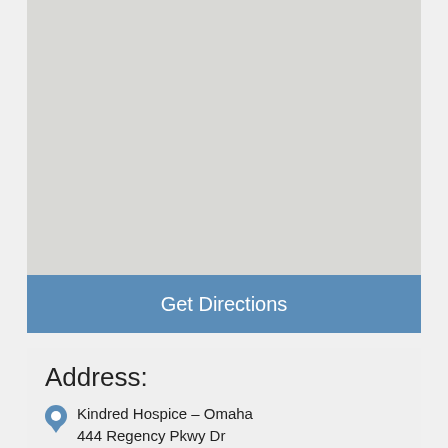[Figure (map): A light grey map placeholder area showing a street map background in muted grey tones]
Get Directions
Address:
Kindred Hospice – Omaha
444 Regency Pkwy Dr
Ste 200